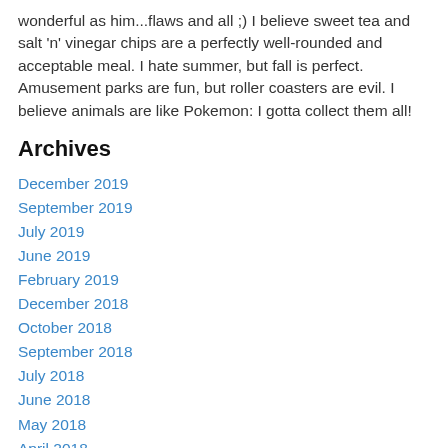wonderful as him...flaws and all ;) I believe sweet tea and salt 'n' vinegar chips are a perfectly well-rounded and acceptable meal. I hate summer, but fall is perfect. Amusement parks are fun, but roller coasters are evil. I believe animals are like Pokemon: I gotta collect them all!
Archives
December 2019
September 2019
July 2019
June 2019
February 2019
December 2018
October 2018
September 2018
July 2018
June 2018
May 2018
April 2018
March 2018
February 2018